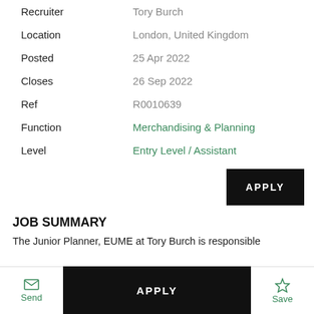| Field | Value |
| --- | --- |
| Recruiter | Tory Burch |
| Location | London, United Kingdom |
| Posted | 25 Apr 2022 |
| Closes | 26 Sep 2022 |
| Ref | R0010639 |
| Function | Merchandising & Planning |
| Level | Entry Level / Assistant |
APPLY
JOB SUMMARY
The Junior Planner, EUME at Tory Burch is responsible
APPLY
Send
Save